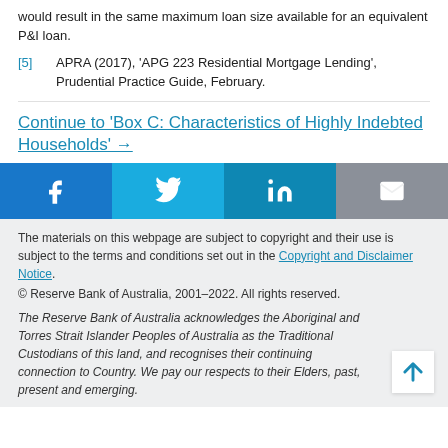would result in the same maximum loan size available for an equivalent P&I loan.
[5] APRA (2017), 'APG 223 Residential Mortgage Lending', Prudential Practice Guide, February.
Continue to 'Box C: Characteristics of Highly Indebted Households' →
[Figure (other): Social media sharing buttons: Facebook, Twitter, LinkedIn, Email]
The materials on this webpage are subject to copyright and their use is subject to the terms and conditions set out in the Copyright and Disclaimer Notice. © Reserve Bank of Australia, 2001–2022. All rights reserved.
The Reserve Bank of Australia acknowledges the Aboriginal and Torres Strait Islander Peoples of Australia as the Traditional Custodians of this land, and recognises their continuing connection to Country. We pay our respects to their Elders, past, present and emerging.